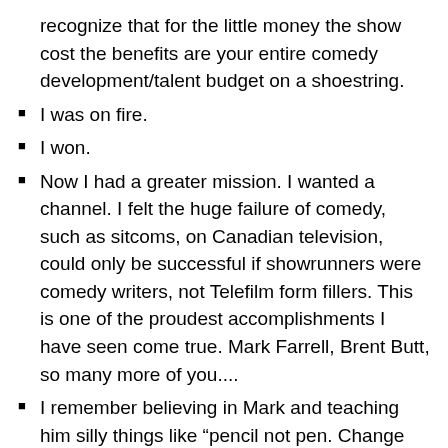recognize that for the little money the show cost the benefits are your entire comedy development/talent budget on a shoestring.
I was on fire.
I won.
Now I had a greater mission. I wanted a channel. I felt the huge failure of comedy, such as sitcoms, on Canadian television, could only be successful if showrunners were comedy writers, not Telefilm form fillers. This is one of the proudest accomplishments I have seen come true. Mark Farrell, Brent Butt, so many more of you....
I remember believing in Mark and teaching him silly things like “pencil not pen. Change pages? Turn the upper right corner…” Knew he was the guy.
Ivan Fecan asked me to help him go for the CRTC bid